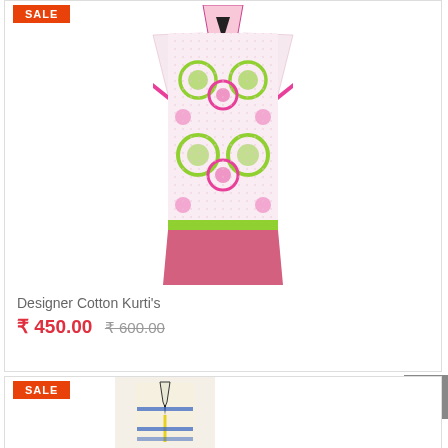[Figure (photo): Pink and green floral printed cotton kurti on mannequin, full length, with SALE badge in top left corner]
Designer Cotton Kurti's
₹ 450.00  ₹ 600.00
[Figure (photo): Second product image, white kurti with blue and yellow patterns, partially visible at bottom, with SALE badge]